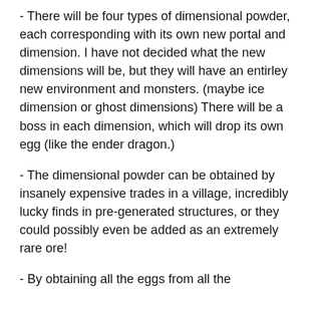- There will be four types of dimensional powder, each corresponding with its own new portal and dimension. I have not decided what the new dimensions will be, but they will have an entirley new environment and monsters. (maybe ice dimension or ghost dimensions) There will be a boss in each dimension, which will drop its own egg (like the ender dragon.)
- The dimensional powder can be obtained by insanely expensive trades in a village, incredibly lucky finds in pre-generated structures, or they could possibly even be added as an extremely rare ore!
- By obtaining all the eggs from all the